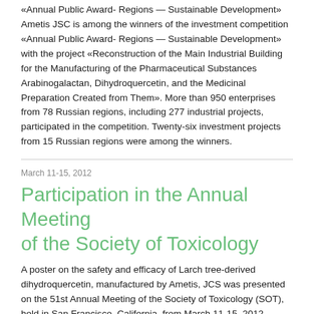«Annual Public Award- Regions — Sustainable Development» Ametis JSC is among the winners of the investment competition «Annual Public Award- Regions — Sustainable Development» with the project «Reconstruction of the Main Industrial Building for the Manufacturing of the Pharmaceutical Substances Arabinogalactan, Dihydroquercetin, and the Medicinal Preparation Created from Them». More than 950 enterprises from 78 Russian regions, including 277 industrial projects, participated in the competition. Twenty-six investment projects from 15 Russian regions were among the winners.
March 11-15, 2012
Participation in the Annual Meeting of the Society of Toxicology
A poster on the safety and efficacy of Larch tree-derived dihydroquercetin, manufactured by Ametis, JCS was presented on the 51st Annual Meeting of the Society of Toxicology (SOT), held in San Francisco, California, from March 11-15, 2012. Alexander Schauss, PhD, FACN- the Senior Director of AIBMR, John R, Endres, ND- the Chief Scientific Officer, and Inna Yegorova, PhD, N.D